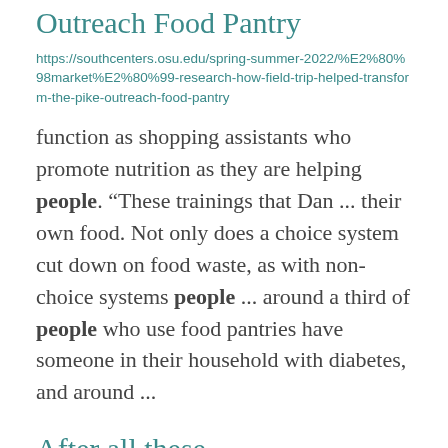Outreach Food Pantry
https://southcenters.osu.edu/spring-summer-2022/%E2%80%98market%E2%80%99-research-how-field-trip-helped-transform-the-pike-outreach-food-pantry
function as shopping assistants who promote nutrition as they are helping people. “These trainings that Dan ... their own food. Not only does a choice system cut down on food waste, as with non-choice systems people ... around a third of people who use food pantries have someone in their household with diabetes, and around ...
After all these years...Bergefurd